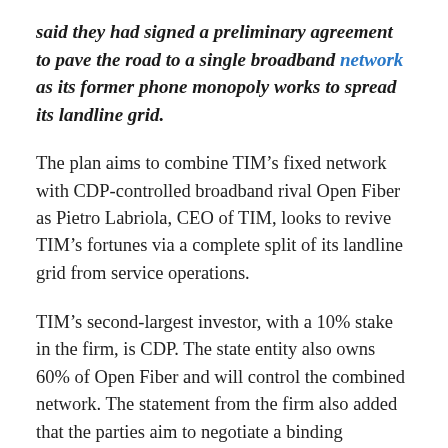said they had signed a preliminary agreement to pave the road to a single broadband network as its former phone monopoly works to spread its landline grid.
The plan aims to combine TIM's fixed network with CDP-controlled broadband rival Open Fiber as Pietro Labriola, CEO of TIM, looks to revive TIM's fortunes via a complete split of its landline grid from service operations.
TIM's second-largest investor, with a 10% stake in the firm, is CDP. The state entity also owns 60% of Open Fiber and will control the combined network. The statement from the firm also added that the parties aim to negotiate a binding agreement by the end of October.